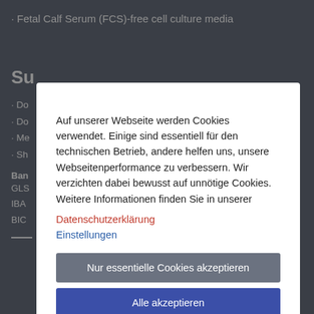· Fetal Calf Serum (FCS)-free cell culture media
Su
· Do
· Do
· Me
· Sh
Ban
GLS
IBA
BIC
[Figure (screenshot): Cookie consent modal dialog with German text. Text reads: 'Auf unserer Webseite werden Cookies verwendet. Einige sind essentiell für den technischen Betrieb, andere helfen uns, unsere Webseitenperformance zu verbessern. Wir verzichten dabei bewusst auf unnötige Cookies. Weitere Informationen finden Sie in unserer Datenschutzerklärung Einstellungen'. Two buttons: 'Nur essentielle Cookies akzeptieren' (grey) and 'Alle akzeptieren' (blue).]
Member of